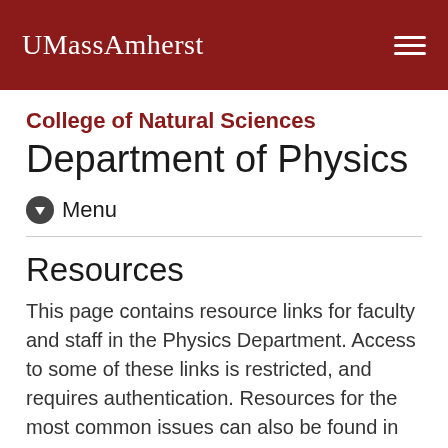UMassAmherst
College of Natural Sciences
Department of Physics
Menu
Resources
This page contains resource links for faculty and staff in the Physics Department. Access to some of these links is restricted, and requires authentication. Resources for the most common issues can also be found in the